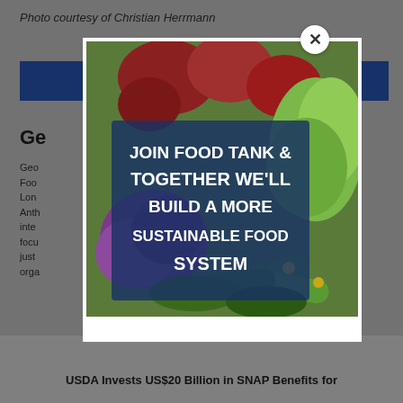Photo courtesy of Christian Herrmann
[Figure (screenshot): Background webpage showing a Food Tank article page with a blue navigation bar, section header starting with 'Ge...', body text about food systems, and a footer teaser reading 'USDA Invests US$20 Billion in SNAP Benefits for...']
[Figure (photo): Food Tank promotional popup ad showing vegetables (beets, cabbage, purple cabbage, cucumbers) with overlaid text: 'JOIN FOOD TANK & TOGETHER WE'LL BUILD A MORE SUSTAINABLE FOOD SYSTEM']
USDA Invests US$20 Billion in SNAP Benefits for